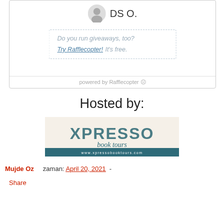[Figure (screenshot): Rafflecopter widget showing user avatar with name 'DS O.' and a dashed box asking 'Do you run giveaways, too? Try Rafflecopter! It's free.' with 'powered by Rafflecopter' footer]
Hosted by:
[Figure (logo): Xpresso Book Tours logo with text 'XPRESSO book tours' and website www.xpressobooktours.com on teal banner]
Mujde Oz   zaman: April 20, 2021  -
Share